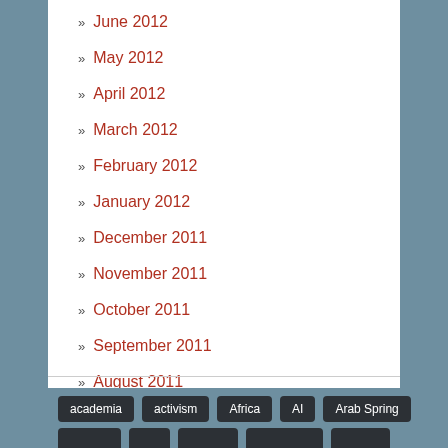» June 2012
» May 2012
» April 2012
» March 2012
» February 2012
» January 2012
» December 2011
» November 2011
» October 2011
» September 2011
» August 2011
academia  activism  Africa  AI  Arab Spring